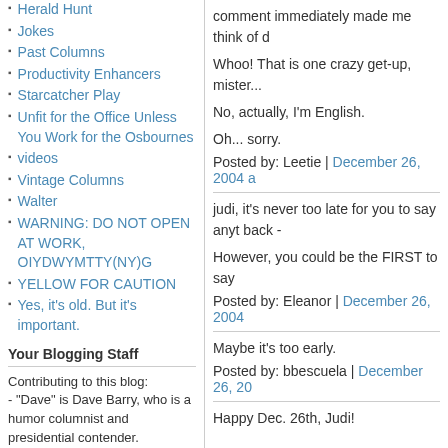Herald Hunt
Jokes
Past Columns
Productivity Enhancers
Starcatcher Play
Unfit for the Office Unless You Work for the Osbournes
videos
Vintage Columns
Walter
WARNING: DO NOT OPEN AT WORK, OIYDWYMTTY(NY)G
YELLOW FOR CAUTION
Yes, it's old. But it's important.
Your Blogging Staff
Contributing to this blog:
- "Dave" is Dave Barry, who is a humor columnist and presidential contender.
- "judi" is Judi Smith, who is Dave's Research Department, as well as being interested in
comment immediately made me think of d
Whoo! That is one crazy get-up, mister...
No, actually, I'm English.
Oh... sorry.
Posted by: Leetie | December 26, 2004 a
judi, it's never too late for you to say anyt back -
However, you could be the FIRST to say
Posted by: Eleanor | December 26, 2004
Maybe it's too early.
Posted by: bbescuela | December 26, 20
Happy Dec. 26th, Judi!